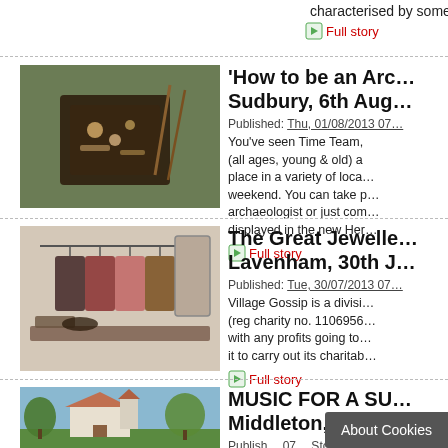characterised by some o…
Full story
[Figure (photo): Archaeological finds tray on grass with tools]
'How to be an Arc… Sudbury, 6th Aug…'
Published: Thu, 01/08/2013 07…
You've seen Time Team, (all ages, young & old) a place in a variety of loca… weekend. You can take p… archaeologist or just com… displayed in the new Her…
Full story
[Figure (photo): Clothing display on mannequins and hanging racks in a shop]
The Great Jewelle… Lavenham, 30th J…
Published: Tue, 30/07/2013 07…
Village Gossip is a divisi… (reg charity no. 1106956… with any profits going to… it to carry out its charitab…
Full story
[Figure (photo): Small church with trees in summer]
MUSIC FOR A SU… Middleton, Sudbu…
Publish… 07… Stour…
About Cookies